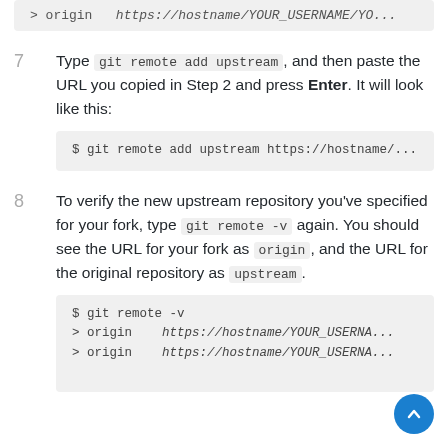[Figure (screenshot): Partial code block at top showing: > origin   https://hostname/YOUR_USERNAME/YO...]
7  Type git remote add upstream , and then paste the URL you copied in Step 2 and press Enter. It will look like this:
[Figure (screenshot): Code block: $ git remote add upstream https://hostname/...]
8  To verify the new upstream repository you've specified for your fork, type git remote -v again. You should see the URL for your fork as origin , and the URL for the original repository as upstream .
[Figure (screenshot): Code block showing: $ git remote -v
> origin    https://hostname/YOUR_USERNA...
> origin    https://hostname/YOUR_USERNA...]